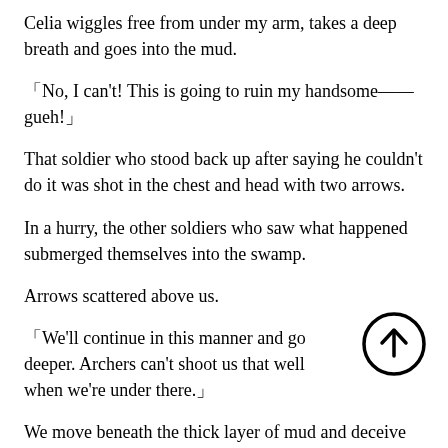Celia wiggles free from under my arm, takes a deep breath and goes into the mud.
「No, I can't! This is going to ruin my handsome——gueh!」
That soldier who stood back up after saying he couldn't do it was shot in the chest and head with two arrows.
In a hurry, the other soldiers who saw what happened submerged themselves into the swamp.
Arrows scattered above us.
「We'll continue in this manner and go deeper. Archers can't shoot us that well when we're under there.」
[Figure (illustration): Upward arrow icon inside a circle]
We move beneath the thick layer of mud and deceive the